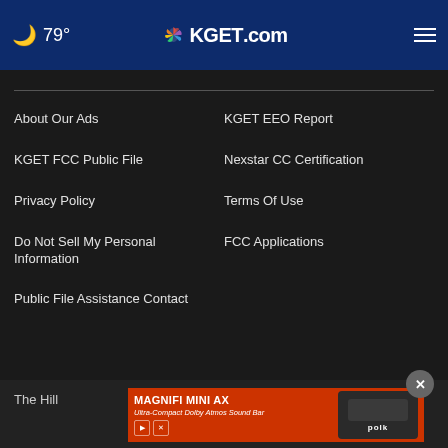🌙 79° KGET.com
About Our Ads
KGET EEO Report
KGET FCC Public File
Nexstar CC Certification
Privacy Policy
Terms Of Use
Do Not Sell My Personal Information
FCC Applications
Public File Assistance Contact
The Hill
[Figure (screenshot): Advertisement banner for Magnifi Mini AX - Ultra-Compact Dolby Atmos Sound Bar by Polk]